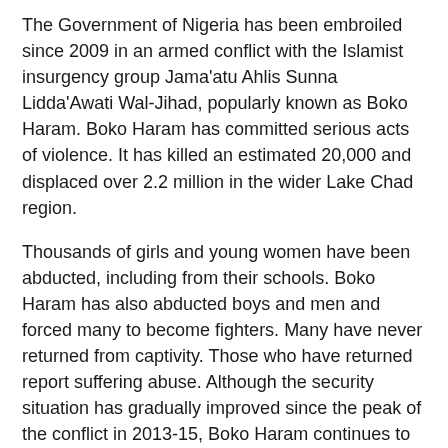The Government of Nigeria has been embroiled since 2009 in an armed conflict with the Islamist insurgency group Jama'atu Ahlis Sunna Lidda'Awati Wal-Jihad, popularly known as Boko Haram. Boko Haram has committed serious acts of violence. It has killed an estimated 20,000 and displaced over 2.2 million in the wider Lake Chad region.
Thousands of girls and young women have been abducted, including from their schools. Boko Haram has also abducted boys and men and forced many to become fighters. Many have never returned from captivity. Those who have returned report suffering abuse. Although the security situation has gradually improved since the peak of the conflict in 2013-15, Boko Haram continues to carry out attacks causing serious loss of life, including increasingly by using child and female suicide bombers. The group reportedly caused 967 fatalities in 2017, a six percent increase over the previous year.